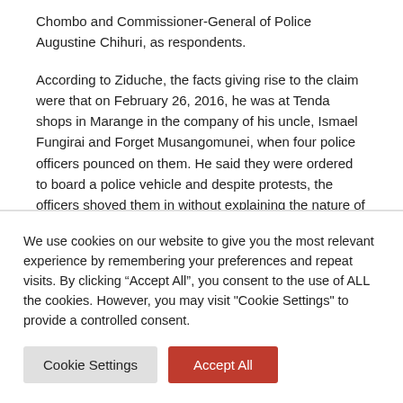Chombo and Commissioner-General of Police Augustine Chihuri, as respondents.
According to Ziduche, the facts giving rise to the claim were that on February 26, 2016, he was at Tenda shops in Marange in the company of his uncle, Ismael Fungirai and Forget Musangomunei, when four police officers pounced on them. He said they were ordered to board a police vehicle and despite protests, the officers shoved them in without explaining the nature of their offence.
We use cookies on our website to give you the most relevant experience by remembering your preferences and repeat visits. By clicking “Accept All”, you consent to the use of ALL the cookies. However, you may visit "Cookie Settings" to provide a controlled consent.